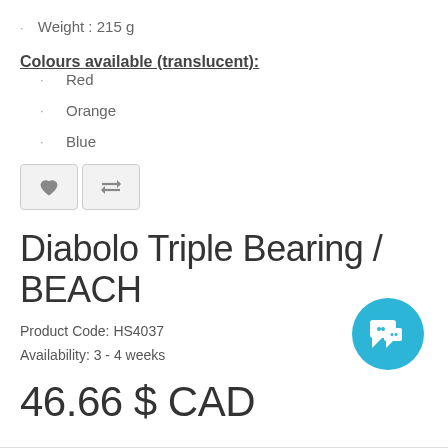Weight : 215 g
Colours available (translucent):
Red
Orange
Blue
[Figure (other): Two icon buttons: a heart/wishlist button and a compare button]
Diabolo Triple Bearing / BEACH
Product Code: HS4037
Availability: 3 - 4 weeks
46.66 $ CAD
[Figure (other): Blue circular chat/messaging button]